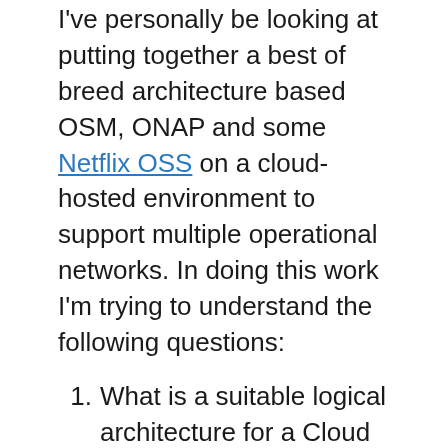I've personally be looking at putting together a best of breed architecture based OSM, ONAP and some Netflix OSS on a cloud-hosted environment to support multiple operational networks. In doing this work I'm trying to understand the following questions:
What is a suitable logical architecture for a Cloud OSS?
And if it can't all be externally hosted then what would be a suitable logical hybrid architecture?
In order to answer these questions let's decompose the functions of OSS and compare which parts are most suitable for being cloud hosted. Let's break it down (using eTOM's service and resource domains) into nine logical packages for further investigation